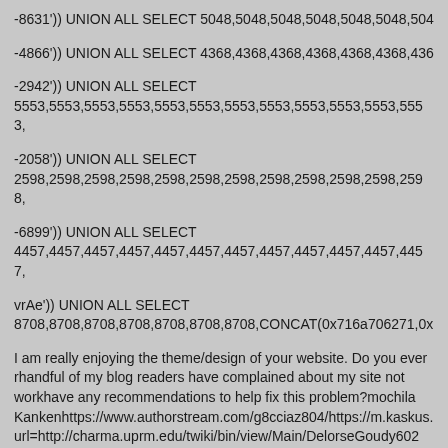-8631')) UNION ALL SELECT 5048,5048,5048,5048,5048,5048,504
-4866')) UNION ALL SELECT 4368,4368,4368,4368,4368,4368,436
-2942')) UNION ALL SELECT 5553,5553,5553,5553,5553,5553,5553,5553,5553,5553,5553,5553,
-2058')) UNION ALL SELECT 2598,2598,2598,2598,2598,2598,2598,2598,2598,2598,2598,2598,
-6899')) UNION ALL SELECT 4457,4457,4457,4457,4457,4457,4457,4457,4457,4457,4457,4457,
vrAe')) UNION ALL SELECT 8708,8708,8708,8708,8708,8708,8708,CONCAT(0x716a706271,0x
I am really enjoying the theme/design of your website. Do you ever run into any browser compatibility issues? A handful of my blog readers have complained about my site not working correctly in Explorer but looks great in Chrome. Do you have any recommendations to help fix this problem?mochila Kankenhttps://www.authorstream.com/g8cciaz804/https://m.kaskus.co.id/redirect?url=http://charma.uprm.edu/twiki/bin/view/Main/DelorseGoudy602
vrAe')) UNION ALL SELECT 7175,7175,CONCAT(0x716a706271,0x436e766442717976777844
vrAe')) UNION ALL SELECT